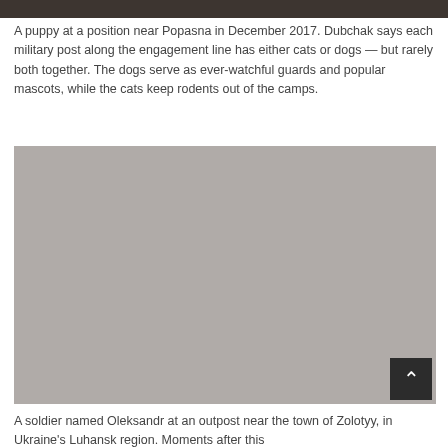[Figure (photo): Top partial photo strip showing a dark outdoor scene, partially cropped at top of page]
A puppy at a position near Popasna in December 2017. Dubchak says each military post along the engagement line has either cats or dogs — but rarely both together. The dogs serve as ever-watchful guards and popular mascots, while the cats keep rodents out of the camps.
[Figure (photo): A soldier named Oleksandr at an outpost near the town of Zolotyy, in Ukraine's Luhansk region. Photo appears blurred/redacted with gray overlay.]
A soldier named Oleksandr at an outpost near the town of Zolotyy, in Ukraine's Luhansk region. Moments after this